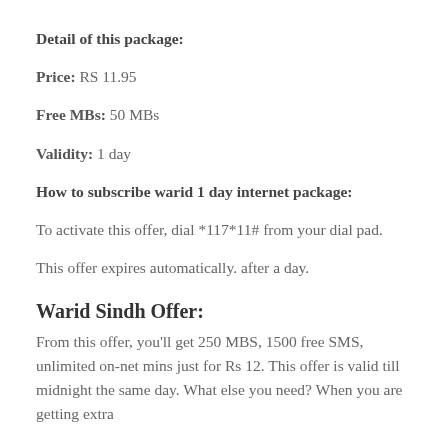Detail of this package:
Price: RS 11.95
Free MBs: 50 MBs
Validity: 1 day
How to subscribe warid 1 day internet package:
To activate this offer, dial *117*11# from your dial pad.
This offer expires automatically. after a day.
Warid Sindh Offer:
From this offer, you'll get 250 MBS, 1500 free SMS, unlimited on-net mins just for Rs 12. This offer is valid till midnight the same day. What else you need? When you are getting extra